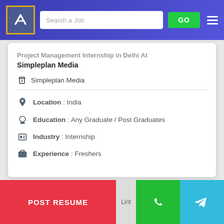[Figure (screenshot): Job listing website navbar with logo, search bar, GO button, and hamburger menu]
Project Management Internship in Delhi At
Simpleplan Media
Simpleplan Media
Location : India
Education : Any Graduate / Post Graduates
Industry : Internship
Experience : Freshers
[Figure (screenshot): POST RESUME red button, WhatsApp green button, Telegram blue button at bottom]